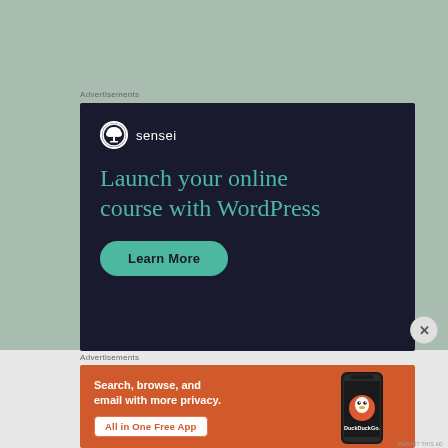Advertisements
[Figure (screenshot): Sensei advertisement: dark navy background with Sensei logo and bonsai tree icon, headline 'Launch your online course with WordPress' in teal serif font, teal 'Learn More' button]
[Figure (screenshot): Close/dismiss button (X circle) on right side]
Advertisements
[Figure (screenshot): DuckDuckGo advertisement: orange background, white text 'Search, browse, and email with more privacy.', white pill button 'All in One Free App', DuckDuckGo logo with phone graphic on right]
REPORT THIS AD